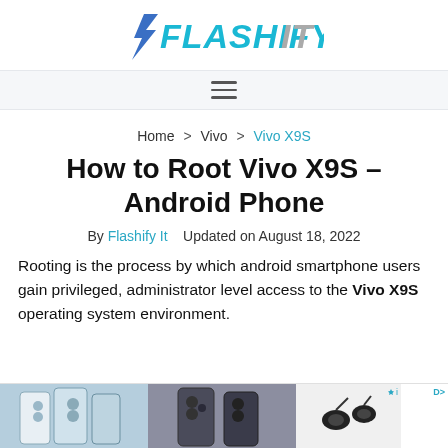FlashifyIT
Home > Vivo > Vivo X9S
How to Root Vivo X9S – Android Phone
By Flashify It   Updated on August 18, 2022
Rooting is the process by which android smartphone users gain privileged, administrator level access to the Vivo X9S operating system environment.
[Figure (photo): Advertisement banner with three phone/product images at bottom of page]